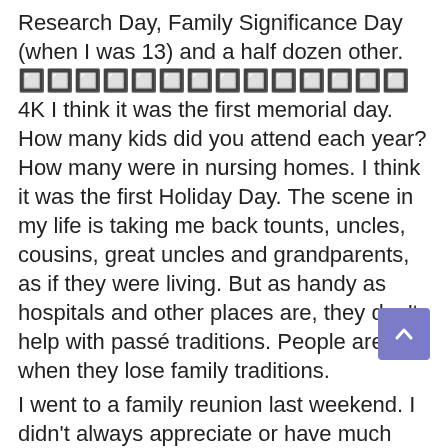Research Day, Family Significance Day (when I was 13) and a half dozen other. 🔲🔲🔲🔲🔲🔲🔲🔲🔲🔲🔲🔲🔲🔲 4K I think it was the first memorial day. How many kids did you attend each year? How many were in nursing homes. I think it was the first Holiday Day. The scene in my life is taking me back tounts, uncles, cousins, great uncles and grandparents, as if they were living. But as handy as hospitals and other places are, they don't help with passé traditions. People are hurt when they lose family traditions.
I went to a family reunion last weekend. I didn't always appreciate or have much